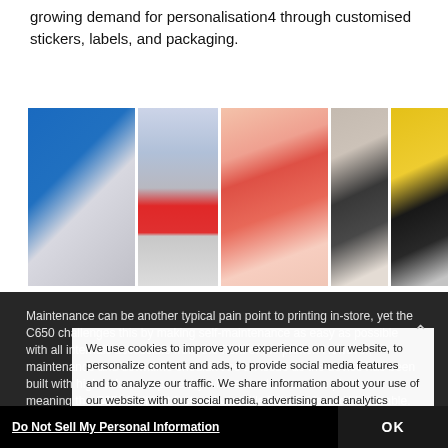growing demand for personalisation4 through customised stickers, labels, and packaging.
[Figure (photo): A strip of five retail/display photos showing signage, kiosk printers, and exhibition displays.]
Maintenance can be another typical pain point to printing in-store, yet the C650 challenges this by making self-maintenance as easy as possible with all internals accessible from the front of the printer. However, maintenance and downtime shouldn't be an issue as the device has been built with high-value componentry where most others use plastics, meaning the C650 isn't just fast and versatile but also incredibly durable.

Retailers can choose layouts, images from movie poster impact devices, the C650 can provide retailers with all the in-house printing capabilities they need without impacting the store layout or requiring specialist expertise.
We use cookies to improve your experience on our website, to personalize content and ads, to provide social media features and to analyze our traffic. We share information about your use of our website with our social media, advertising and analytics partners, who may combine it with other information that you have provided to them or that they have collected from your use of their services. You have the right to opt out of our sharing information about you with our partners. Please click [Do Not Sell My Personal Information] to customize your cookie settings on our website. Privacy Policy
Do Not Sell My Personal Information
OK